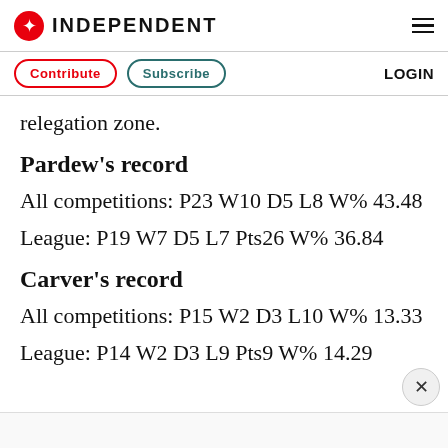INDEPENDENT
Contribute  Subscribe  LOGIN
relegation zone.
Pardew's record
All competitions: P23 W10 D5 L8 W% 43.48
League: P19 W7 D5 L7 Pts26 W% 36.84
Carver's record
All competitions: P15 W2 D3 L10 W% 13.33
League: P14 W2 D3 L9 Pts9 W% 14.29